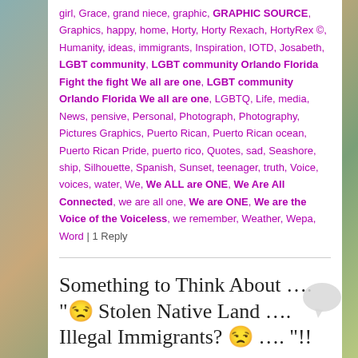girl, Grace, grand niece, graphic, GRAPHIC SOURCE, Graphics, happy, home, Horty, Horty Rexach, HortyRex ©, Humanity, ideas, immigrants, Inspiration, IOTD, Josabeth, LGBT community, LGBT community Orlando Florida Fight the fight We all are one, LGBT community Orlando Florida We all are one, LGBTQ, Life, media, News, pensive, Personal, Photograph, Photography, Pictures Graphics, Puerto Rican, Puerto Rican ocean, Puerto Rican Pride, puerto rico, Quotes, sad, Seashore, ship, Silhouette, Spanish, Sunset, teenager, truth, Voice, voices, water, We, We ALL are ONE, We Are All Connected, we are all one, We are ONE, We are the Voice of the Voiceless, we remember, Weather, Wepa, Word | 1 Reply
Something to Think About …. "😒 Stolen Native Land …. Illegal Immigrants? 😒 …. "!!
Posted on July 6, 2018 by Dr. Rex
★★★★☆ i 2 Votes